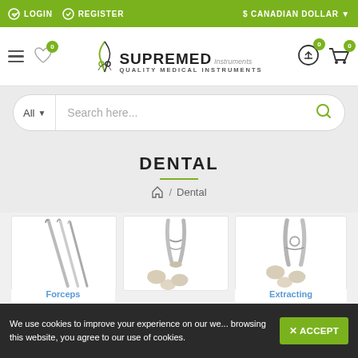LOGIN   REGISTER   $ CANADIAN DOLLAR
[Figure (logo): Supremed Instruments - Quality Medical Instruments logo with scissors/instrument icon]
[Figure (screenshot): Search bar with All category dropdown and search field]
DENTAL
Home / Dental
[Figure (photo): Dental probe/explorer instruments]
[Figure (photo): Forceps dental instruments with extracted teeth]
[Figure (photo): Extracting dental forceps with extracted teeth]
Forceps
Extracting
We use cookies to improve your experience on our we... browsing this website, you agree to our use of cookies.